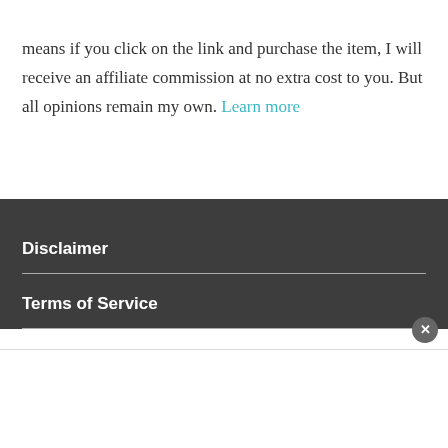means if you click on the link and purchase the item, I will receive an affiliate commission at no extra cost to you. But all opinions remain my own. Learn more
Disclaimer
Terms of Service